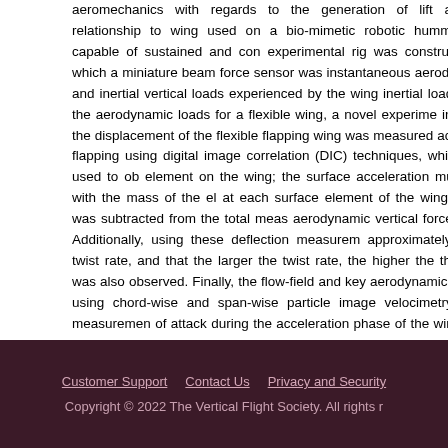aeromechanics with regards to the generation of lift and its relationship to wing used on a bio-mimetic robotic hummingbird capable of sustained and con experimental rig was constructed in which a miniature beam force sensor was instantaneous aerodynamic and inertial vertical loads experienced by the wing inertial loads from the aerodynamic loads for a flexible wing, a novel experime in which the displacement of the flexible flapping wing was measured accuratel flapping using digital image correlation (DIC) techniques, which was used to ob element on the wing; the surface acceleration multiplied with the mass of the el at each surface element of the wing, which was subtracted from the total meas aerodynamic vertical force or lift. Additionally, using these deflection measurem approximately linear twist rate, and that the larger the twist rate, the higher the the wing was also observed. Finally, the flow-field and key aerodynamic structu using chord-wise and span-wise particle image velocimetry (PIV) measuremen of attack during the acceleration phase of the wing, and the development and b diameter equal to the wing chord at the 70% span location during deceleration. development in the characterization of hummingbird-like flapping wings used o the design of flexible, structurally-tuned wings for micro air vehicle applications.
Customer Support   Contact Us   Privacy and Security   Copyright © 2022 The Vertical Flight Society. All rights r